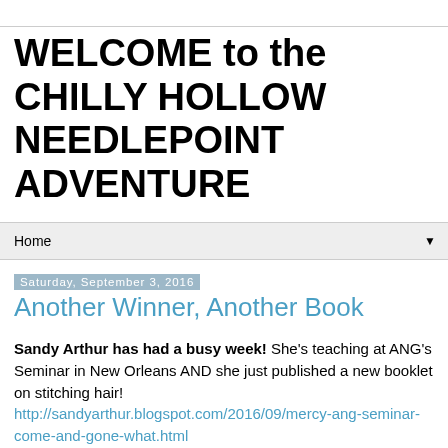WELCOME to the CHILLY HOLLOW NEEDLEPOINT ADVENTURE
Home ▼
Saturday, September 3, 2016
Another Winner, Another Book
Sandy Arthur has had a busy week! She's teaching at ANG's Seminar in New Orleans AND she just published a new booklet on stitching hair! http://sandyarthur.blogspot.com/2016/09/mercy-ang-seminar-come-and-gone-what.html
AND she just won ANG's Literary Award.  For the second time.  I am seriously impressed.